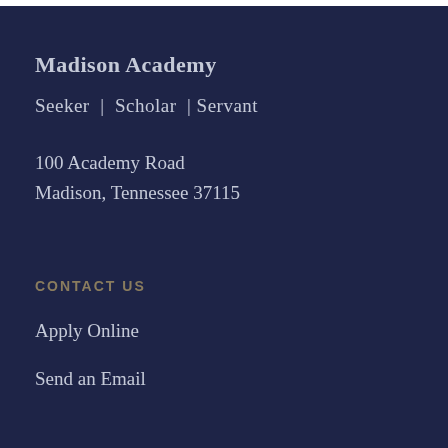Madison Academy
Seeker  |  Scholar  | Servant
100 Academy Road
Madison, Tennessee 37115
CONTACT US
Apply Online
Send an Email